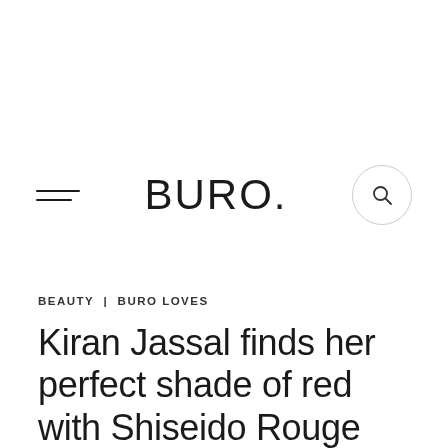BURO.
BEAUTY | BURO LOVES
Kiran Jassal finds her perfect shade of red with Shiseido Rouge Rouge